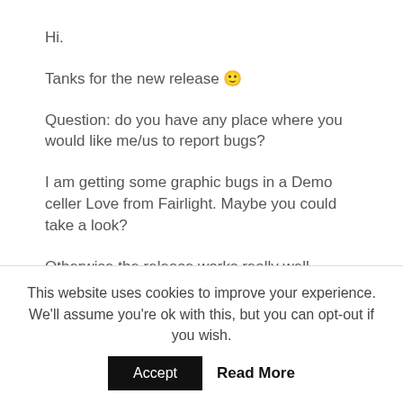Hi.
Tanks for the new release 🙂
Question: do you have any place where you would like me/us to report bugs?
I am getting some graphic bugs in a Demo celler Love from Fairlight. Maybe you could take a look?
Otherwise the release works really well.
↪ REPLY
[date icon] ─────────────────────
This website uses cookies to improve your experience. We'll assume you're ok with this, but you can opt-out if you wish.
Accept   Read More